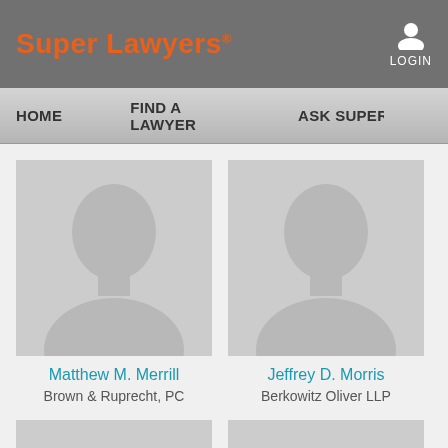Super Lawyers
LOGIN
HOME  FIND A LAWYER  ASK SUPER L...
[Figure (photo): Placeholder silhouette photo for Matthew M. Merrill]
Matthew M. Merrill
Brown & Ruprecht, PC
[Figure (photo): Placeholder silhouette photo for Jeffrey D. Morris]
Jeffrey D. Morris
Berkowitz Oliver LLP
[Figure (photo): Placeholder silhouette photo, bottom left, partially visible]
[Figure (photo): Placeholder silhouette photo, bottom right, partially visible]